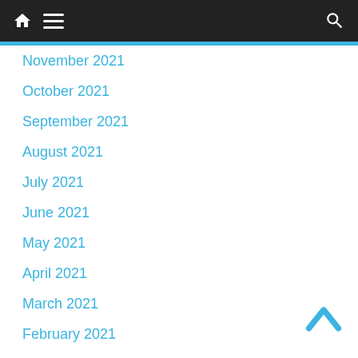Navigation bar with home, menu, and search icons
November 2021
October 2021
September 2021
August 2021
July 2021
June 2021
May 2021
April 2021
March 2021
February 2021
January 2021
December 2020
November 2020